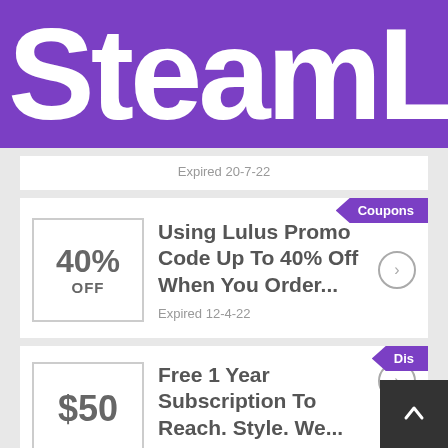SteamLo
Expired 20-7-22
Coupons
40% OFF
Using Lulus Promo Code Up To 40% Off When You Order...
Expired 12-4-22
Dis
$50
Free 1 Year Subscription To Reach. Style. We...